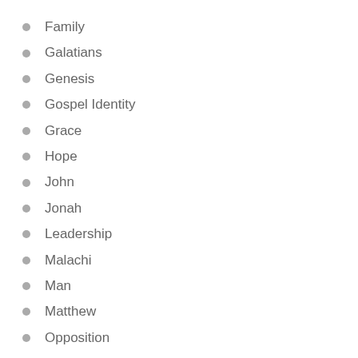Family
Galatians
Genesis
Gospel Identity
Grace
Hope
John
Jonah
Leadership
Malachi
Man
Matthew
Opposition